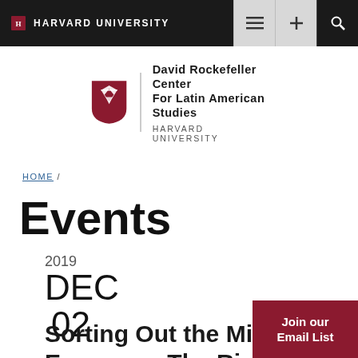HARVARD UNIVERSITY
[Figure (logo): David Rockefeller Center for Latin American Studies, Harvard University logo with shield]
HOME /
Events
2019
DEC
02
Sorting Out the Mixed Economy: The Rise and Fall
Join our Email List